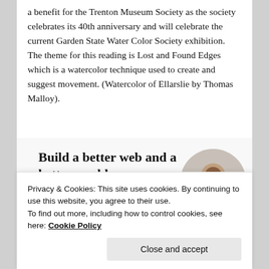a benefit for the Trenton Museum Society as the society celebrates its 40th anniversary and will celebrate the current Garden State Water Color Society exhibition. The theme for this reading is Lost and Found Edges which is a watercolor technique used to create and suggest movement. (Watercolor of Ellarslie by Thomas Malloy).
[Figure (infographic): Advertisement banner with bold text 'Build a better web and a better world.' with a blue Apply button and a circular photo of a man with glasses thinking.]
Privacy & Cookies: This site uses cookies. By continuing to use this website, you agree to their use.
To find out more, including how to control cookies, see here: Cookie Policy
Close and accept